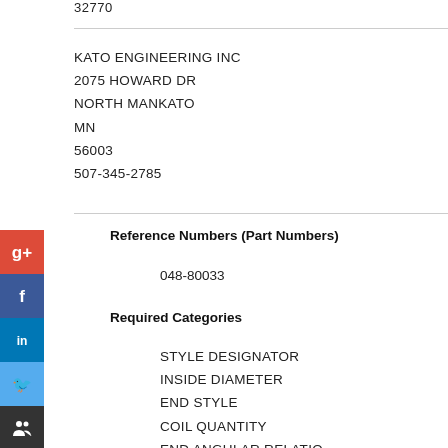32770
KATO ENGINEERING INC
2075 HOWARD DR
NORTH MANKATO
MN
56003
507-345-2785
Reference Numbers (Part Numbers)
048-80033
Required Categories
STYLE DESIGNATOR
INSIDE DIAMETER
END STYLE
COIL QUANTITY
END ANGULAR RELATIO